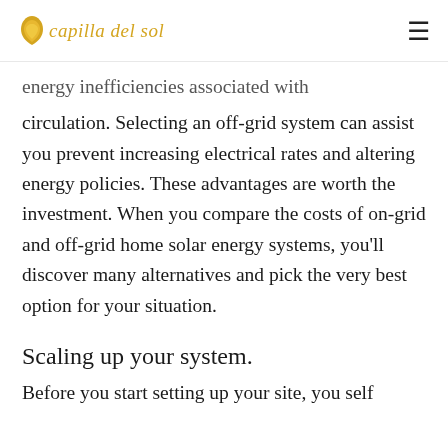capilla del sol
energy inefficiencies associated with circulation. Selecting an off-grid system can assist you prevent increasing electrical rates and altering energy policies. These advantages are worth the investment. When you compare the costs of on-grid and off-grid home solar energy systems, you'll discover many alternatives and pick the very best option for your situation.
Scaling up your system.
Before you start setting up your site, you self